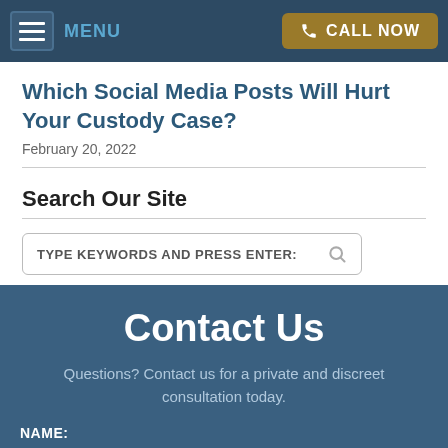MENU | CALL NOW
Which Social Media Posts Will Hurt Your Custody Case?
February 20, 2022
Search Our Site
TYPE KEYWORDS AND PRESS ENTER:
Contact Us
Questions? Contact us for a private and discreet consultation today.
NAME: